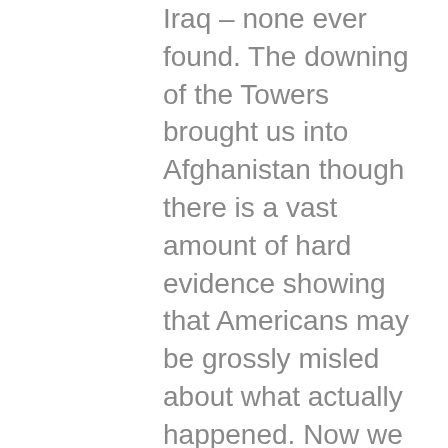Iraq – none ever found. The downing of the Towers brought us into Afghanistan though there is a vast amount of hard evidence showing that Americans may be grossly misled about what actually happened. Now we have soldiers in Syria, for absolutely no tangible reason except to help Israel do its dirty work. Creating empire, war-making, and a huge Mil. Ind. Comp. are some of the areas where Dems. and Reps. agree. It appears they also agree the lives of young Americans are disposable. If you want to understand who benefits from wars read about Gen. Smedley Butler. Only a very small few number of American people benefit, but the majority are the ones who always pays the price. Geo. Washington warned the country in his farewell address to avoid foreign entanglements. Now,TPTB/officialdom are constantly secretly plotting more wars and “interventions”. Financially, it is bankrupting the country. Our infrastructure is deteriorating and failing (Amer. Soc. of Civil Eng.s rates our infrastructure at a D-), we have a gigantic